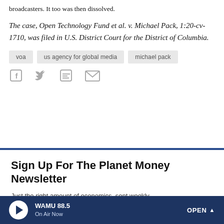broadcasters. It too was then dissolved.
The case, Open Technology Fund et al. v. Michael Pack, 1:20-cv-1710, was filed in U.S. District Court for the District of Columbia.
voa
us agency for global media
michael pack
[Figure (other): Social media share icons: Facebook, Twitter, Flipboard, Email]
Sign Up For The Planet Money Newsletter
Just the right amount of economics, sent weekly.
WAMU 88.5 On Air Now OPEN